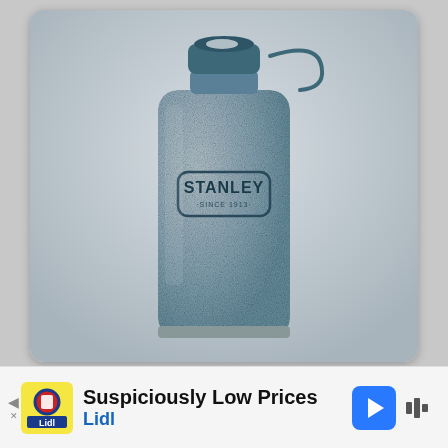[Figure (photo): Product photo of a Stanley stainless steel hip flask with hammered blue-grey finish and tethered cap, branded with 'STANLEY SINCE 1913' logo on front, displayed against a light grey gradient background on a rounded-corner card.]
Suspiciously Low Prices
Lidl